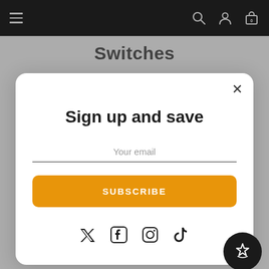Navigation bar with hamburger menu, search, account, and cart icons
Switches
[Figure (screenshot): Modal popup with sign up form on e-commerce website. Contains title 'Sign up and save', email input field, orange SUBSCRIBE button, and social media icons (Twitter, Facebook, Instagram, TikTok). A floating dark circular badge with a star icon is in the bottom right.]